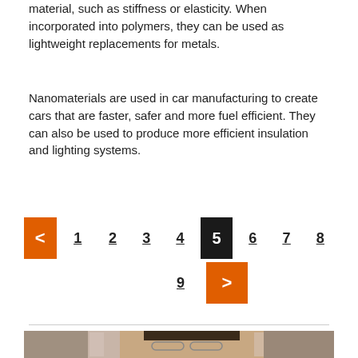material, such as stiffness or elasticity. When incorporated into polymers, they can be used as lightweight replacements for metals.
Nanomaterials are used in car manufacturing to create cars that are faster, safer and more fuel efficient. They can also be used to produce more efficient insulation and lighting systems.
[Figure (other): Pagination navigation bar with orange back arrow, page numbers 1-8 on first row, and page 9 with orange forward arrow on second row. Page 5 is highlighted in dark/black as the active page.]
[Figure (photo): Photo of a person with curly hair and glasses, looking at the camera, partially visible at the bottom of the page.]